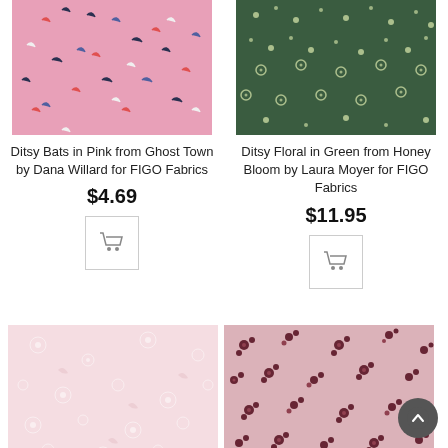[Figure (photo): Pink fabric with scattered colorful bat/leaf shapes (red, blue, white, dark navy)]
Ditsy Bats in Pink from Ghost Town by Dana Willard for FIGO Fabrics
$4.69
[Figure (other): Shopping cart button icon]
[Figure (photo): Dark green fabric with small white/cream floral ditsy pattern]
Ditsy Floral in Green from Honey Bloom by Laura Moyer for FIGO Fabrics
$11.95
[Figure (other): Shopping cart button icon]
[Figure (photo): Light pink fabric with faint white floral pattern]
[Figure (photo): Light pink fabric with scattered dark pink/maroon small floral clusters]